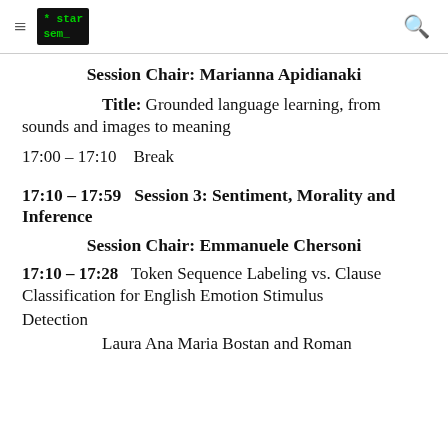≡  *star sem_   🔍
Session Chair: Marianna Apidianaki
Title: Grounded language learning, from sounds and images to meaning
17:00 – 17:10    Break
17:10 – 17:59   Session 3: Sentiment, Morality and Inference
Session Chair: Emmanuele Chersoni
17:10 – 17:28   Token Sequence Labeling vs. Clause Classification for English Emotion Stimulus Detection
Laura Ana Maria Bostan and Roman